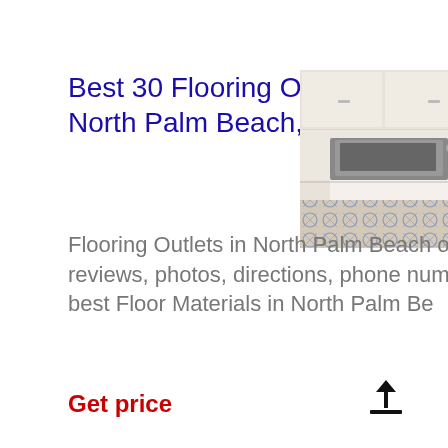Best 30 Flooring Outlets in North Palm Beach, FL with ...
Flooring Outlets in North Palm Beach on YP.com. See reviews, photos, directions, phone numbers and more best Floor Materials in North Palm Be
[Figure (photo): Kitchen interior photo showing white cabinets, stainless steel range, and patterned tile floor]
Get price
[Figure (other): Share/upload icon arrow pointing up from a tray]